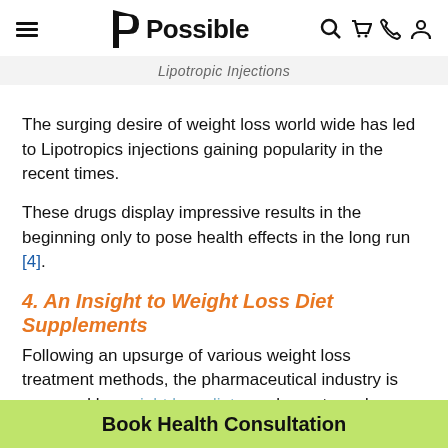Possible (logo with hamburger menu and icons)
Lipotropic Injections
The surging desire of weight loss world wide has led to Lipotropics injections gaining popularity in the recent times.
These drugs display impressive results in the beginning only to pose health effects in the long run [4].
4. An Insight to Weight Loss Diet Supplements
Following an upsurge of various weight loss treatment methods, the pharmaceutical industry is swarmed by weight loss diet supplements and an increasing number
Book Health Consultation